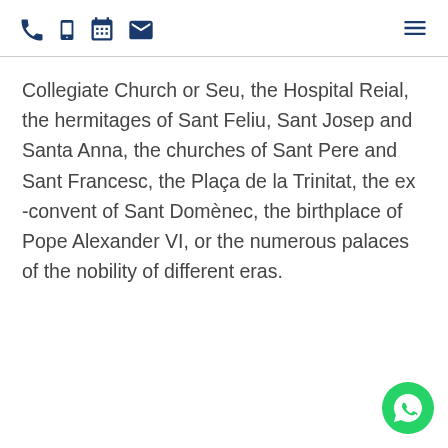[icons: phone, mobile, calendar, email] [hamburger menu]
Collegiate Church or Seu, the Hospital Reial, the hermitages of Sant Feliu, Sant Josep and Santa Anna, the churches of Sant Pere and Sant Francesc, the Plaça de la Trinitat, the ex -convent of Sant Domènec, the birthplace of Pope Alexander VI, or the numerous palaces of the nobility of different eras.
[Figure (logo): WhatsApp icon button in bottom right corner]